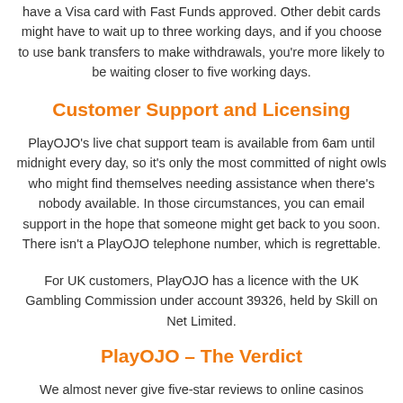have a Visa card with Fast Funds approved. Other debit cards might have to wait up to three working days, and if you choose to use bank transfers to make withdrawals, you're more likely to be waiting closer to five working days.
Customer Support and Licensing
PlayOJO's live chat support team is available from 6am until midnight every day, so it's only the most committed of night owls who might find themselves needing assistance when there's nobody available. In those circumstances, you can email support in the hope that someone might get back to you soon. There isn't a PlayOJO telephone number, which is regrettable.
For UK customers, PlayOJO has a licence with the UK Gambling Commission under account 39326, held by Skill on Net Limited.
PlayOJO – The Verdict
We almost never give five-star reviews to online casinos because there's always something to improve on, but we very nearly did so